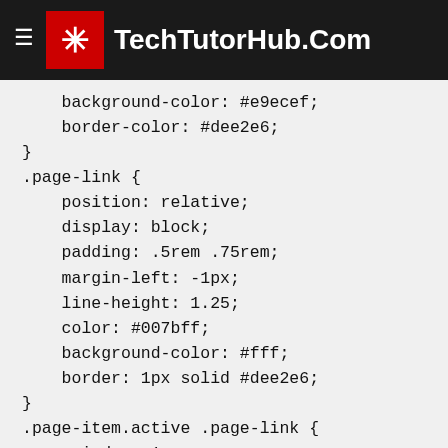TechTutorHub.Com
background-color: #e9ecef;
    border-color: #dee2e6;
}
.page-link {
    position: relative;
    display: block;
    padding: .5rem .75rem;
    margin-left: -1px;
    line-height: 1.25;
    color: #007bff;
    background-color: #fff;
    border: 1px solid #dee2e6;
}
.page-item.active .page-link {
    z-index: 1;
    color: #fff;